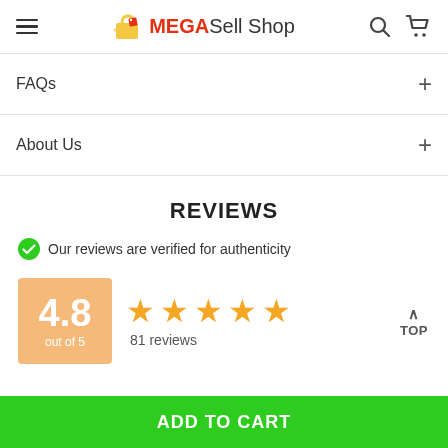MEGASell Shop — navigation header with hamburger menu, logo, search and cart icons
FAQs
About Us
REVIEWS
Our reviews are verified for authenticity
[Figure (infographic): Rating badge showing 4.8 out of 5 with 5 orange stars and 81 reviews, plus a TOP button]
ADD TO CART